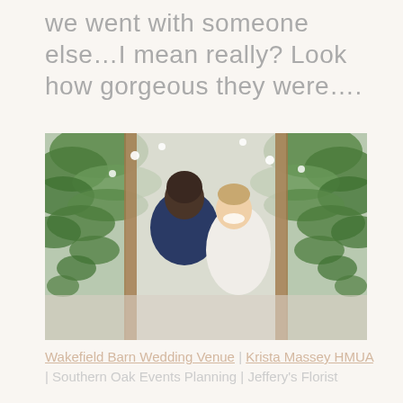we went with someone else…I mean really? Look how gorgeous they were….
[Figure (photo): Wedding photo of a couple – groom in navy blue suit leaning his head toward the bride who is smiling broadly, standing in front of a lush floral and greenery arch backdrop.]
Wakefield Barn Wedding Venue | Krista Massey HMUA | Southern Oak Events Planning | Jeffery's Florist